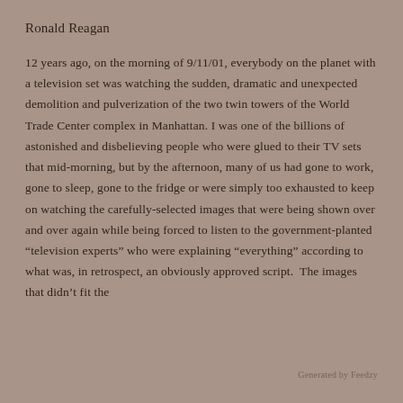Ronald Reagan
12 years ago, on the morning of 9/11/01, everybody on the planet with a television set was watching the sudden, dramatic and unexpected demolition and pulverization of the two twin towers of the World Trade Center complex in Manhattan. I was one of the billions of astonished and disbelieving people who were glued to their TV sets that mid-morning, but by the afternoon, many of us had gone to work, gone to sleep, gone to the fridge or were simply too exhausted to keep on watching the carefully-selected images that were being shown over and over again while being forced to listen to the government-planted “television experts” who were explaining “everything” according to what was, in retrospect, an obviously approved script. The images that didn’t fit the
Generated by Feedzy